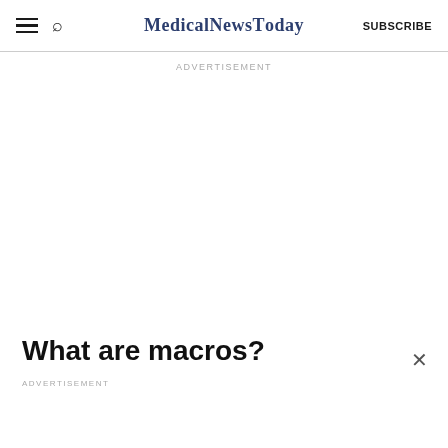MedicalNewsToday SUBSCRIBE
ADVERTISEMENT
What are macros?
ADVERTISEMENT